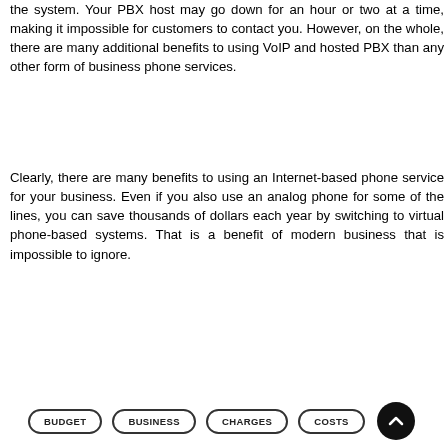the system. Your PBX host may go down for an hour or two at a time, making it impossible for customers to contact you. However, on the whole, there are many additional benefits to using VoIP and hosted PBX than any other form of business phone services.
Clearly, there are many benefits to using an Internet-based phone service for your business. Even if you also use an analog phone for some of the lines, you can save thousands of dollars each year by switching to virtual phone-based systems. That is a benefit of modern business that is impossible to ignore.
BUDGET
BUSINESS
CHARGES
COSTS